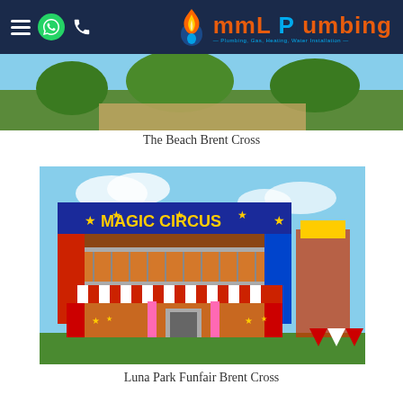MML Plumbing — Plumbing, Gas, Heating, Water Installation
[Figure (photo): Partial view of The Beach Brent Cross outdoor attraction]
The Beach Brent Cross
[Figure (photo): Colourful Magic Circus funfair building with red and white striped awnings at Luna Park Funfair Brent Cross]
Luna Park Funfair Brent Cross